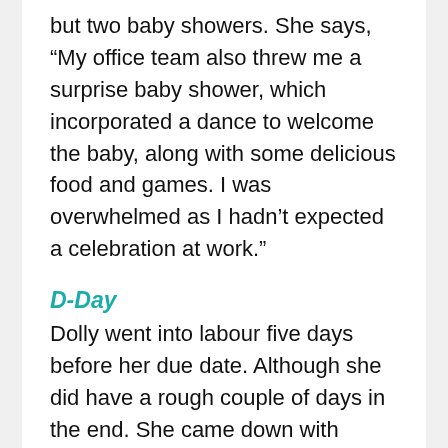but two baby showers. She says, “My office team also threw me a surprise baby shower, which incorporated a dance to welcome the baby, along with some delicious food and games. I was overwhelmed as I hadn’t expected a celebration at work.”
D-Day
Dolly went into labour five days before her due date. Although she did have a rough couple of days in the end. She came down with rashes and was in the emergency room the day before her delivery. Dolly says, “I was expecting that I would have to get labour induced as the baby wasn’t ready to come out. But then on the morning of July 11, 2016, I experienced slight pain. Before I knew it, we